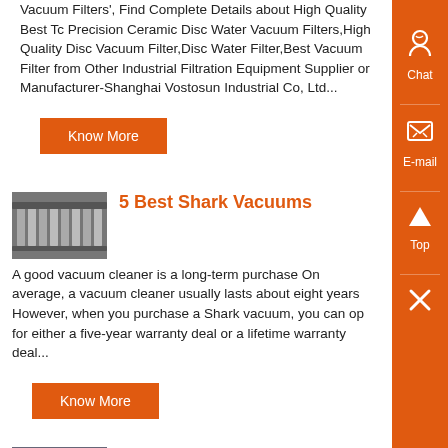Vacuum Filters', Find Complete Details about High Quality Best Tc Precision Ceramic Disc Water Vacuum Filters,High Quality Disc Vacuum Filter,Disc Water Filter,Best Vacuum Filter from Other Industrial Filtration Equipment Supplier or Manufacturer-Shanghai Vostosun Industrial Co, Ltd...
Know More
[Figure (photo): Industrial machinery with multiple cylindrical filter components]
5 Best Shark Vacuums
A good vacuum cleaner is a long-term purchase On average, a vacuum cleaner usually lasts about eight years However, when you purchase a Shark vacuum, you can opt for either a five-year warranty deal or a lifetime warranty deal...
Know More
[Figure (photo): Person in hard hat working with equipment]
Amazon small hepa filter
LEVOIT Air Purifier for Home Bedroom, HEPA Fresheners Filter Small Room Cleaner with Fragrance Sponge for